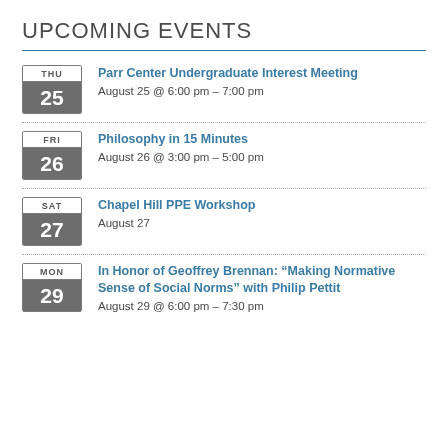UPCOMING EVENTS
Parr Center Undergraduate Interest Meeting
August 25 @ 6:00 pm - 7:00 pm
Philosophy in 15 Minutes
August 26 @ 3:00 pm - 5:00 pm
Chapel Hill PPE Workshop
August 27
In Honor of Geoffrey Brennan: “Making Normative Sense of Social Norms” with Philip Pettit
August 29 @ 6:00 pm - 7:30 pm